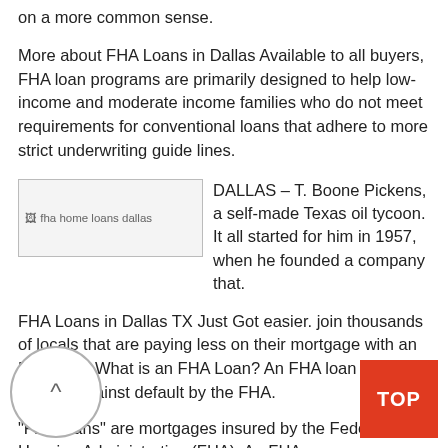on a more common sense.
More about FHA Loans in Dallas Available to all buyers, FHA loan programs are primarily designed to help low-income and moderate income families who do not meet requirements for conventional loans that adhere to more strict underwriting guide lines.
[Figure (photo): Image placeholder labeled 'fha home loans dallas']
DALLAS – T. Boone Pickens, a self-made Texas oil tycoon. It all started for him in 1957, when he founded a company that.
FHA Loans in Dallas TX Just Got easier. join thousands of locals that are paying less on their mortgage with an FHA loan. What is an FHA Loan? An FHA loan is a loan insured against default by the FHA.
"FHA loans" are mortgages insured by the Federal Housing Administration (FHA). An FHA